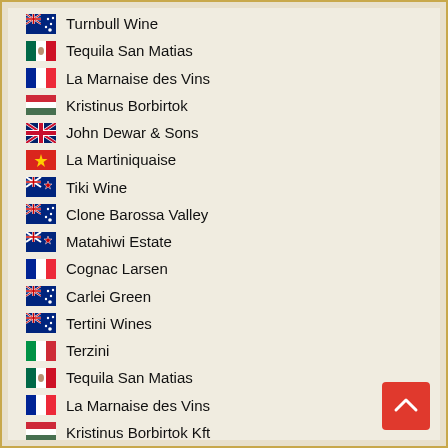Turnbull Wine
Tequila San Matias
La Marnaise des Vins
Kristinus Borbirtok
John Dewar & Sons
La Martiniquaise
Tiki Wine
Clone Barossa Valley
Matahiwi Estate
Cognac Larsen
Carlei Green
Tertini Wines
Terzini
Tequila San Matias
La Marnaise des Vins
Kristinus Borbirtok Kft
Enemigo
Hunter's Wines
Drayton's Family Wines
Sans Pareil Estate
Sa' Nico Australian Wines